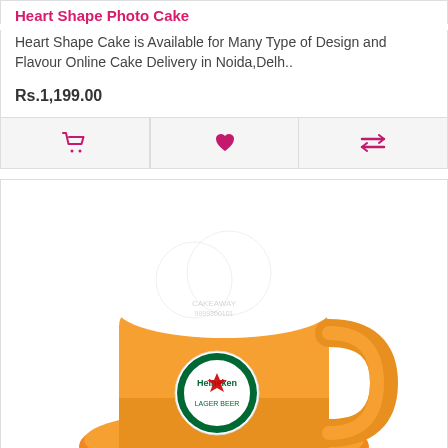Heart Shape Photo Cake
Heart Shape Cake is Available for Many Type of Design and Flavour Online Cake Delivery in Noida,Delh..
Rs.1,199.00
[Figure (infographic): Three action icons: shopping cart, heart/wishlist, and compare (two horizontal lines with arrows)]
[Figure (photo): Heineken Beer Mug Cake — an orange fondant cake shaped like a beer mug with foamy white cream on top, a Heineken label on the side, sitting on a saucer-like base with green text reading 'Cheers Harsha']
Heineken Beer Mug Cake